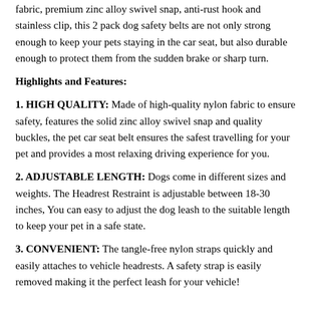fabric, premium zinc alloy swivel snap, anti-rust hook and stainless clip, this 2 pack dog safety belts are not only strong enough to keep your pets staying in the car seat, but also durable enough to protect them from the sudden brake or sharp turn.
Highlights and Features:
1. HIGH QUALITY: Made of high-quality nylon fabric to ensure safety, features the solid zinc alloy swivel snap and quality buckles, the pet car seat belt ensures the safest travelling for your pet and provides a most relaxing driving experience for you.
2. ADJUSTABLE LENGTH: Dogs come in different sizes and weights. The Headrest Restraint is adjustable between 18-30 inches, You can easy to adjust the dog leash to the suitable length to keep your pet in a safe state.
3. CONVENIENT: The tangle-free nylon straps quickly and easily attaches to vehicle headrests. A safety strap is easily removed making it the perfect leash for your vehicle!